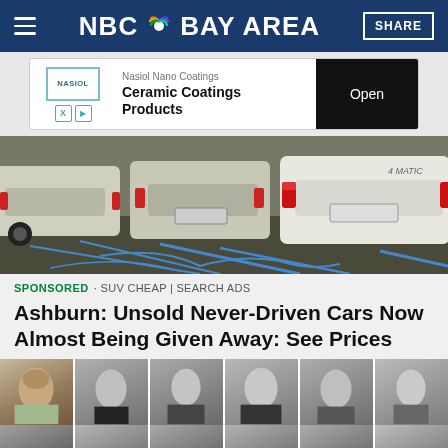NBC Bay Area
[Figure (screenshot): Advertisement banner: Nasiol Nano Coatings Ceramic Coatings Products with Open button]
[Figure (photo): Row of white cars strapped down in transport/shipping area, viewed from rear]
SPONSORED · SUV CHEAP | SEARCH ADS
Ashburn: Unsold Never-Driven Cars Now Almost Being Given Away: See Prices
[Figure (photo): Grid of vintage yearbook portrait photos showing young people in black and white]